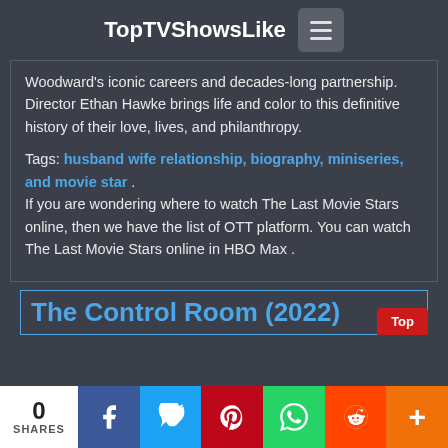TopTVShowsLike
Woodward's iconic careers and decades-long partnership. Director Ethan Hawke brings life and color to this definitive history of their love, lives, and philanthropy.
Tags: husband wife relationship, biography, miniseries, and movie star . If you are wondering where to watch The Last Movie Stars online, then we have the list of OTT platform. You can watch The Last Movie Stars online in HBO Max .
The Control Room (2022)
0 SHARES